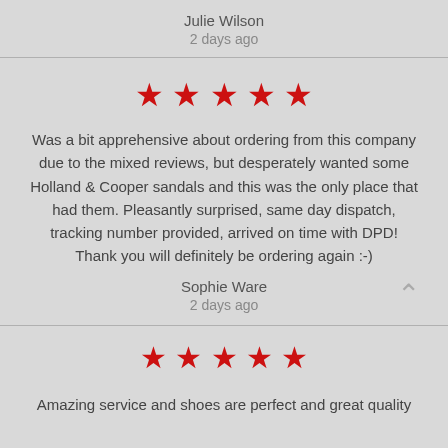Julie Wilson
2 days ago
[Figure (other): 5 red star rating]
Was a bit apprehensive about ordering from this company due to the mixed reviews, but desperately wanted some Holland & Cooper sandals and this was the only place that had them. Pleasantly surprised, same day dispatch, tracking number provided, arrived on time with DPD! Thank you will definitely be ordering again :-)
Sophie Ware
2 days ago
[Figure (other): 5 red star rating]
Amazing service and shoes are perfect and great quality